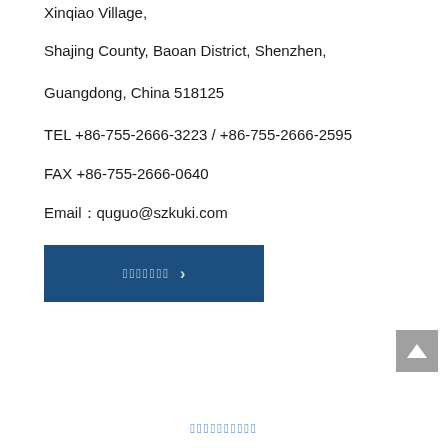Xinqiao Village,
Shajing County, Baoan District, Shenzhen,
Guangdong, China 518125
TEL +86-755-2666-3223 / +86-755-2666-2595
FAX +86-755-2666-0640
Email：quguo@szkuki.com
[Figure (other): Blue button with Chinese characters and right arrow]
[Figure (other): Gray scroll-to-top button with upward arrow]
（中文字符页脚链接）